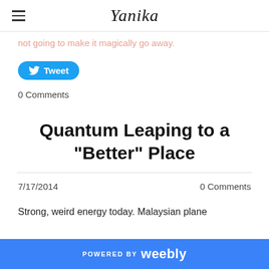Yanika
not going to make it magically go away.
[Figure (other): Tweet button with Twitter bird icon]
0 Comments
Quantum Leaping to a "Better" Place
7/17/2014
0 Comments
Strong, weird energy today. Malaysian plane
POWERED BY weebly